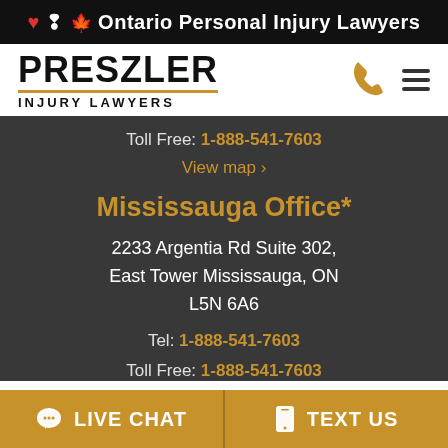🍁 Ontario Personal Injury Lawyers
[Figure (logo): Preszler Injury Lawyers logo with phone and menu icons]
Toll Free: 1-888-541-7603
View map ›
Mississauga Office*
2233 Argentia Rd Suite 302, East Tower Mississauga, ON L5N 6A6
Tel: 1-888-541-7603
Toll Free: 1-888-541-7603
LIVE CHAT   TEXT US